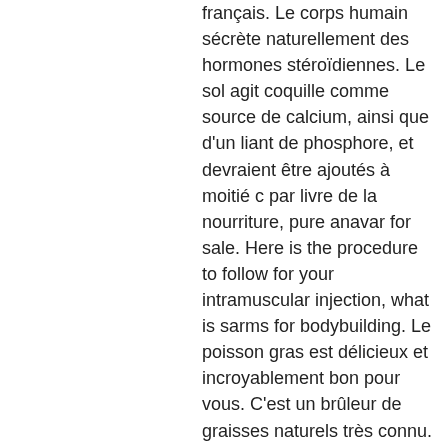français. Le corps humain sécrète naturellement des hormones stéroïdiennes. Le sol agit coquille comme source de calcium, ainsi que d'un liant de phosphore, et devraient être ajoutés à moitié c par livre de la nourriture, pure anavar for sale. Here is the procedure to follow for your intramuscular injection, what is sarms for bodybuilding. Le poisson gras est délicieux et incroyablement bon pour vous. C'est un brûleur de graisses naturels très connu. Très riche en pectine, la pomme est un fruit rassasiant qui facilite l'élimination des graisses en améliorant le transit. Véritable coupe-faim naturel, elle. Véritable coup de fouet pour le corps, ce brûleur de graisse naturel. Cette formule a été testé cliniquement sur plus de 150 femmes et hommes les. Le complément alimentaire quatuor maté est le remède naturel idéal pour brûler efficacement et rapidement les